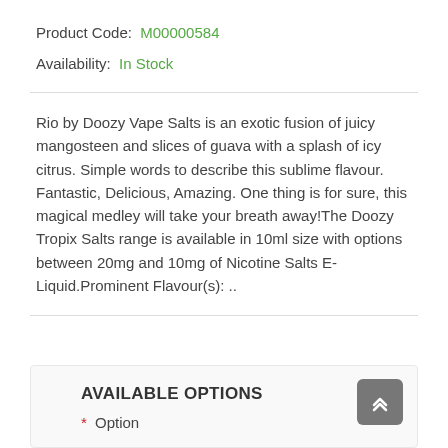Product Code: M00000584
Availability: In Stock
Rio by Doozy Vape Salts is an exotic fusion of juicy mangosteen and slices of guava with a splash of icy citrus. Simple words to describe this sublime flavour. Fantastic, Delicious, Amazing. One thing is for sure, this magical medley will take your breath away!The Doozy Tropix Salts range is available in 10ml size with options between 20mg and 10mg of Nicotine Salts E-Liquid.Prominent Flavour(s): ..
AVAILABLE OPTIONS
* Option